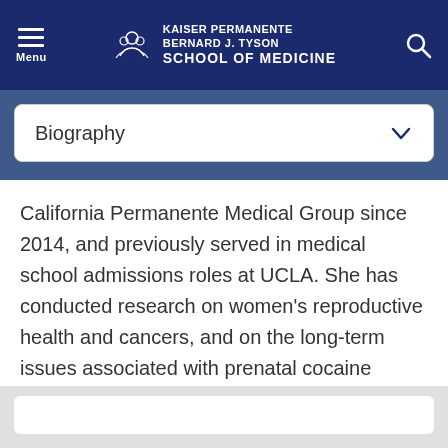KAISER PERMANENTE BERNARD J. TYSON SCHOOL OF MEDICINE
Biography
California Permanente Medical Group since 2014, and previously served in medical school admissions roles at UCLA. She has conducted research on women's reproductive health and cancers, and on the long-term issues associated with prenatal cocaine exposure.